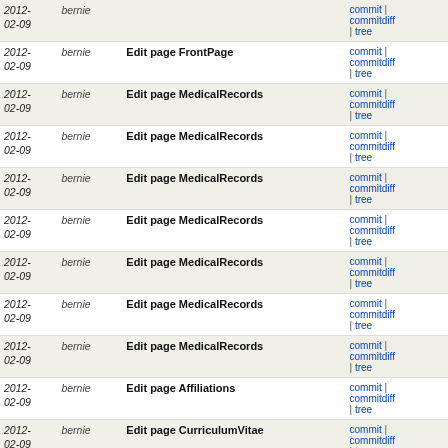| date | author | message | links |
| --- | --- | --- | --- |
| 2012-02-09 | bernie | Edit page memo/benchmark/compression | commit | commitdiff | tree |
| 2012-02-09 | bernie | Edit page FrontPage | commit | commitdiff | tree |
| 2012-02-09 | bernie | Edit page MedicalRecords | commit | commitdiff | tree |
| 2012-02-09 | bernie | Edit page MedicalRecords | commit | commitdiff | tree |
| 2012-02-09 | bernie | Edit page MedicalRecords | commit | commitdiff | tree |
| 2012-02-09 | bernie | Edit page MedicalRecords | commit | commitdiff | tree |
| 2012-02-09 | bernie | Edit page MedicalRecords | commit | commitdiff | tree |
| 2012-02-09 | bernie | Edit page MedicalRecords | commit | commitdiff | tree |
| 2012-02-09 | bernie | Edit page MedicalRecords | commit | commitdiff | tree |
| 2012-02-09 | bernie | Edit page Affiliations | commit | commitdiff | tree |
| 2012-02-09 | bernie | Edit page CurriculumVitae | commit | commitdiff | tree |
| 2012-02-09 | bernie | Edit page CurriculumVitae | commit | commitdiff | tree |
| 2012-02-09 | bernie | Edit page CurriculumVitae | commit | commitdiff | tree |
| 2012-02-09 | bernie | Edit page Affiliations | commit | commitdiff | tree |